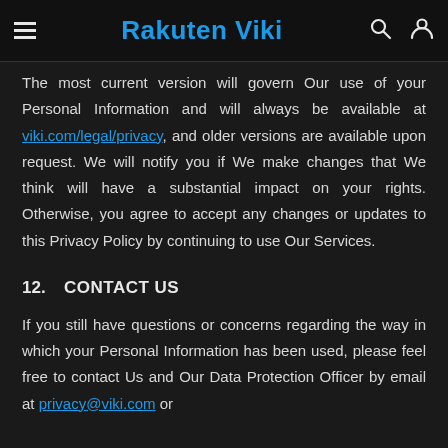Rakuten Viki
The most current version will govern Our use of your Personal Information and will always be available at viki.com/legal/privacy, and older versions are available upon request. We will notify you if We make changes that We think will have a substantial impact on your rights. Otherwise, you agree to accept any changes or updates to this Privacy Policy by continuing to use Our Services.
12. CONTACT US
If you still have questions or concerns regarding the way in which your Personal Information has been used, please feel free to contact Us and Our Data Protection Officer by email at privacy@viki.com or